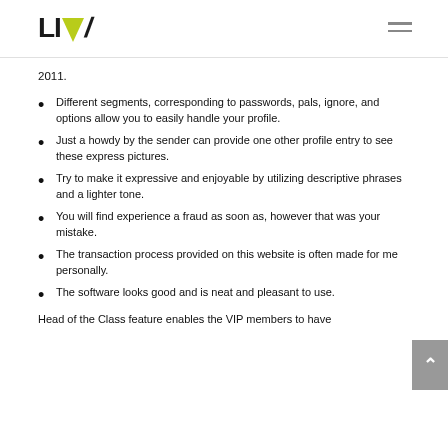LIV (logo with hamburger menu)
2011.
Different segments, corresponding to passwords, pals, ignore, and options allow you to easily handle your profile.
Just a howdy by the sender can provide one other profile entry to see these express pictures.
Try to make it expressive and enjoyable by utilizing descriptive phrases and a lighter tone.
You will find experience a fraud as soon as, however that was your mistake.
The transaction process provided on this website is often made for me personally.
The software looks good and is neat and pleasant to use.
Head of the Class feature enables the VIP members to have